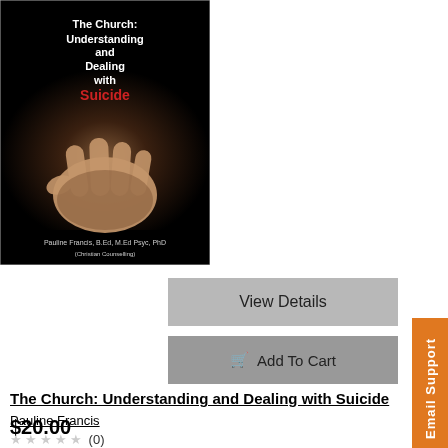[Figure (photo): Book cover of 'The Church: Understanding and Dealing with Suicide' by Pauline Francis, B.Ed, M.Ed Psyc, PhD (Christian Counselling). Black background with a photograph of an open hand, title text in white and red.]
View Details
Add To Cart
The Church: Understanding and Dealing with Suicide
Pauline Francis
(0)
$20.00